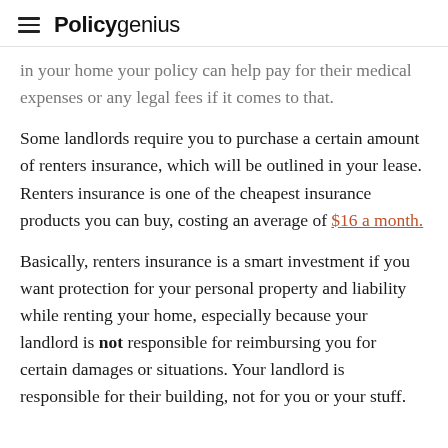Policygenius
in your home your policy can help pay for their medical expenses or any legal fees if it comes to that.
Some landlords require you to purchase a certain amount of renters insurance, which will be outlined in your lease. Renters insurance is one of the cheapest insurance products you can buy, costing an average of $16 a month.
Basically, renters insurance is a smart investment if you want protection for your personal property and liability while renting your home, especially because your landlord is not responsible for reimbursing you for certain damages or situations. Your landlord is responsible for their building, not for you or your stuff.